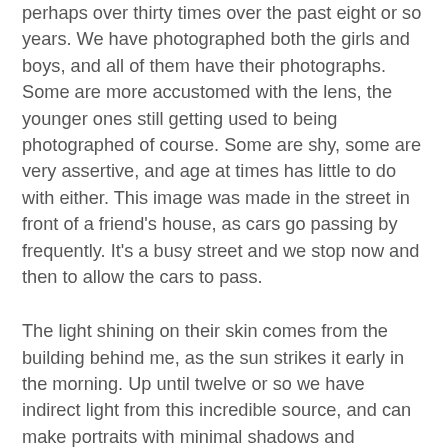perhaps over thirty times over the past eight or so years. We have photographed both the girls and boys, and all of them have their photographs. Some are more accustomed with the lens, the younger ones still getting used to being photographed of course. Some are shy, some are very assertive, and age at times has little to do with either. This image was made in the street in front of a friend's house, as cars go passing by frequently. It's a busy street and we stop now and then to allow the cars to pass.
The light shining on their skin comes from the building behind me, as the sun strikes it early in the morning. Up until twelve or so we have indirect light from this incredible source, and can make portraits with minimal shadows and maximum evenness of light. People often wonder how these are made, and a photographer familiar with this street asked me one time: where do you find the white background?
When I told him, he was still unable to believe it. For me this process revealed itself on this island, when photographing one day years ago. Upon returning to the States I realized that in some of the portraits the background faded away. With a snow-fence of distincting color, the solution of